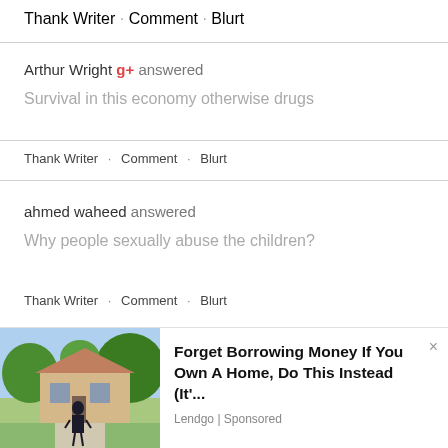Thank Writer · Comment · Blurt
Arthur Wright g+ answered
Survival in this economy otherwise drugs
Thank Writer · Comment · Blurt
ahmed waheed answered
Why people sexually abuse the children?
Thank Writer · Comment · Blurt
[Figure (photo): Advertisement photo showing a woman standing in front of a large house with trees]
Forget Borrowing Money If You Own A Home, Do This Instead (It'...
Lendgo | Sponsored